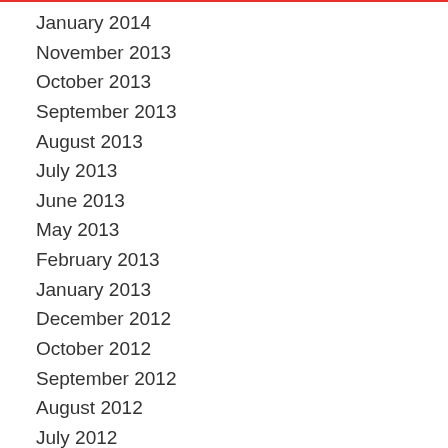January 2014
November 2013
October 2013
September 2013
August 2013
July 2013
June 2013
May 2013
February 2013
January 2013
December 2012
October 2012
September 2012
August 2012
July 2012
June 2012